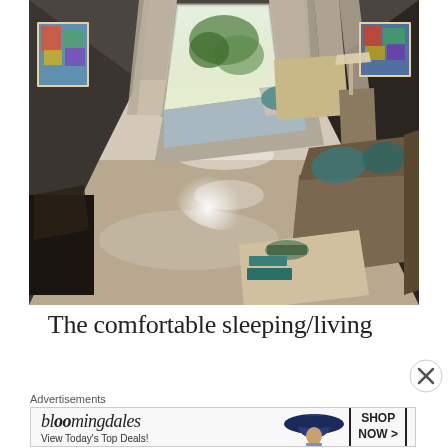[Figure (photo): Interior photo of a hotel or apartment studio room showing a comfortable sleeping/living area. A bed with light blue/grey bedding and teal accent pillows is in the background near a large bright window with floor-length beige curtains. Colorful abstract artwork hangs on both side walls. A brown sofa with teal cushions is in the foreground right. A coffee table with a wooden bowl and teal decorative items sits in the foreground center. A shiny white tile floor. Plants visible through the window.]
The comfortable sleeping/living
Advertisements
[Figure (other): Bloomingdales advertisement banner. Shows Bloomingdale's logo in italic serif font, text 'View Today's Top Deals!', an image of a woman in a large blue hat, and a 'SHOP NOW >' button in a black bordered box.]